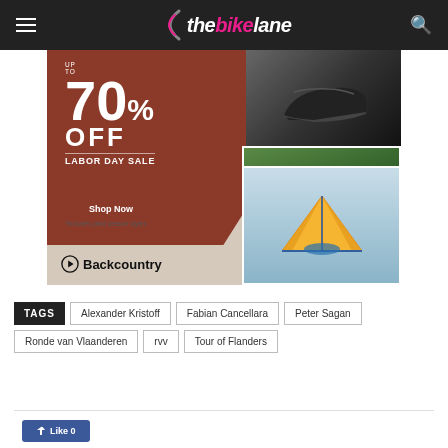thebikelane
[Figure (photo): Backcountry Labor Day Sale advertisement banner showing up to 70% off, with images of a hiking shoe, a person outdoors, and an orange tent. Includes Shop Now button and Backcountry logo.]
TAGS  Alexander Kristoff  Fabian Cancellara  Peter Sagan  Ronde van Vlaanderen  rvv  Tour of Flanders
[Figure (other): Facebook Like button]